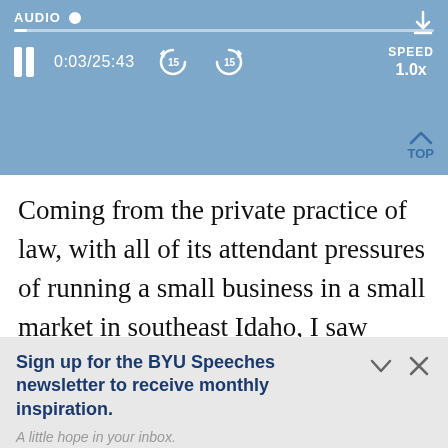[Figure (screenshot): Audio player bar with label AUDIO, progress bar, pause button, time 0:03/25:43, back 15 and forward 15 controls, SPEED 1.0x, and download icon]
Coming from the private practice of law, with all of its attendant pressures of running a small business in a small market in southeast Idaho, I saw BYU as a sort of Garden of Ed… for me. In my mind, at BYU my true intere…
Sign up for the BYU Speeches newsletter to receive monthly inspiration.
A little hope in your inbox.
Enter your email
SUBSCRIBE